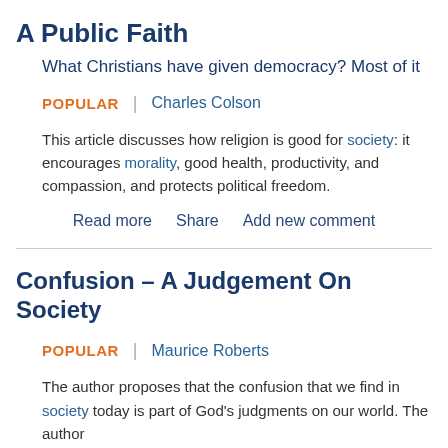A Public Faith
What Christians have given democracy? Most of it
POPULAR | Charles Colson
This article discusses how religion is good for society: it encourages morality, good health, productivity, and compassion, and protects political freedom.
Read more   Share   Add new comment
Confusion – A Judgement On Society
POPULAR | Maurice Roberts
The author proposes that the confusion that we find in society today is part of God's judgments on our world. The author